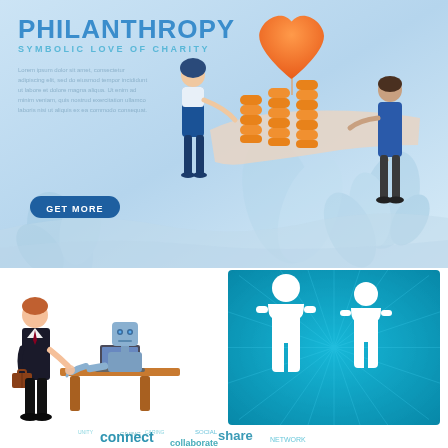[Figure (illustration): Philanthropy themed illustration with a heart balloon, people, gold coins/puzzle pieces, and decorative plants on a light blue gradient background. Includes title PHILANTHROPY, subtitle SYMBOLIC LOVE OF CHARITY, lorem ipsum text, and GET MORE button.]
[Figure (illustration): Businessman shaking hands with a robot sitting at a desk with a laptop computer.]
[Figure (illustration): Teal/cyan background with radiating sunburst lines and two white silhouette people icons standing side by side.]
[Figure (infographic): Word cloud at the bottom with words including connect, share, and other social/networking terms in teal colors.]